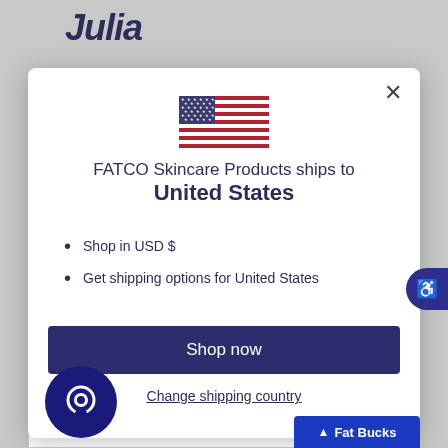[Figure (logo): Julia script italic logo in dark navy blue]
[Figure (illustration): US flag SVG illustration]
FATCO Skincare Products ships to United States
Shop in USD $
Get shipping options for United States
Shop now
Change shipping country
Fat Bucks